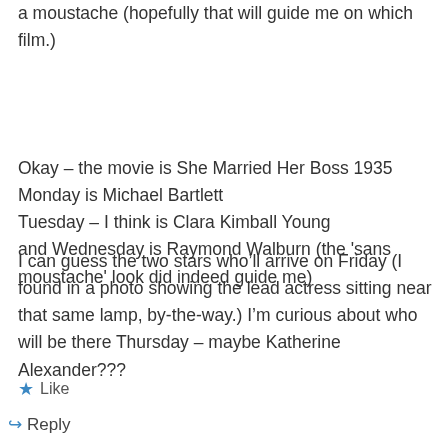a moustache (hopefully that will guide me on which film.)
Okay – the movie is She Married Her Boss 1935 Monday is Michael Bartlett Tuesday – I think is Clara Kimball Young and Wednesday is Raymond Walburn (the 'sans moustache' look did indeed guide me)
I can guess the two stars who'll arrive on Friday (I found in a photo showing the lead actress sitting near that same lamp, by-the-way.) I'm curious about who will be there Thursday – maybe Katherine Alexander???
Like
Reply